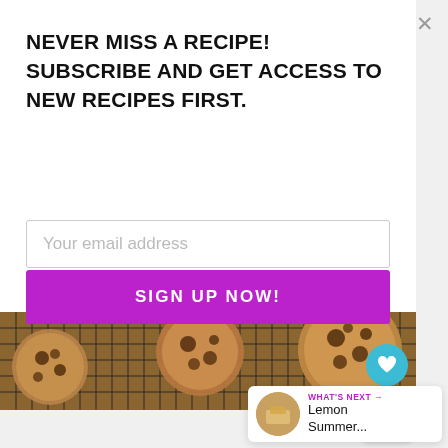NEVER MISS A RECIPE! SUBSCRIBE AND GET ACCESS TO NEW RECIPES FIRST.
Your email address
SIGN UP NOW!
[Figure (photo): Chocolate chip cookies cooling on a wire rack grid, close-up view from above]
676
WHAT'S NEXT → Lemon Summer...